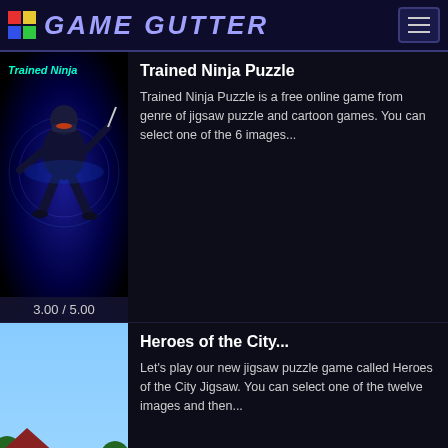GAME GUTTER
Trained Ninja Puzzle
Trained Ninja Puzzle is a free online game from genre of jigsaw puzzle and cartoon games. You can select one of the 6 images...
3.00 / 5.00
Heroes of the City...
Let's play our new jigsaw puzzle game called Heroes of the City Jigsaw. You can select one of the twelve images and then...
2.88 / 5.00
Sweet Valentine Pets...
Sweet Valentine Pets Jigsaw is a fun online puzzle game. Drag the pieces into right position using mouse. Solving puzzles is...
2.30 / 5.00
Thanksgiving Jigsaw